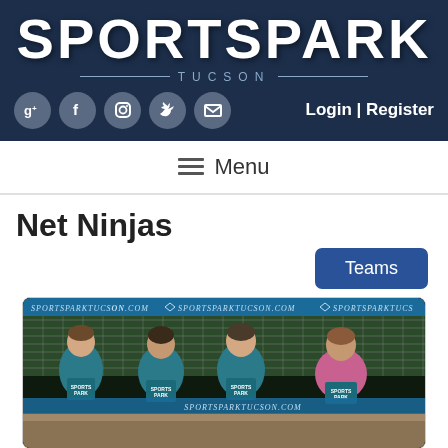[Figure (logo): SportsPark Tucson logo with white bold text on dark navy background, with dashed underline and TUCSON subtitle with horizontal lines on each side]
[Figure (infographic): Row of circular social media icons: Google+, Facebook, Instagram, Twitter, Email — gray circles on navy background]
Login | Register
≡ Menu
Net Ninjas
Teams
[Figure (photo): Four women standing in front of a volleyball net at night, each holding a blue SportsPark t-shirt. Banner in background reads SportsParkTucson.com repeatedly. Sandy court visible at bottom.]